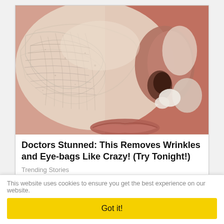[Figure (photo): Close-up photo of a person's face with a white clay or cream mask applied, showing skin texture and wrinkles, with visible nose and lips in the lower right.]
Doctors Stunned: This Removes Wrinkles and Eye-bags Like Crazy! (Try Tonight!)
Trending Stories
This website uses cookies to ensure you get the best experience on our website.
Got it!